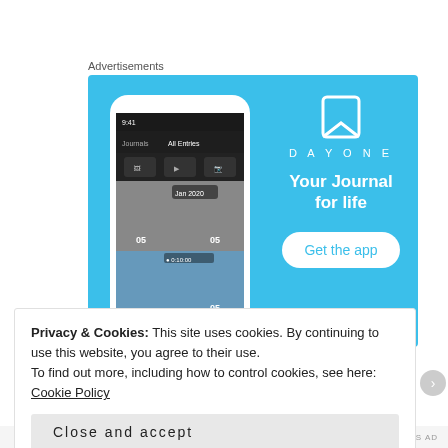Advertisements
[Figure (screenshot): DayOne app advertisement banner with sky blue background. Left side shows a smartphone displaying the DayOne journal app interface with photo entries dated Jan 2020. Right side shows the DayOne logo (bookmark icon), text 'D A Y O N E', tagline 'Your Journal for life', and a white rounded button 'Get the app'.]
Privacy & Cookies: This site uses cookies. By continuing to use this website, you agree to their use.
To find out more, including how to control cookies, see here: Cookie Policy
Close and accept